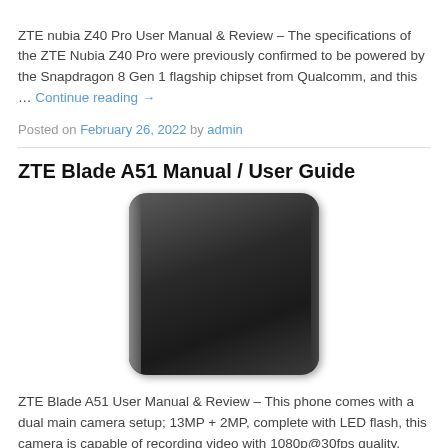ZTE nubia Z40 Pro User Manual & Review – The specifications of the ZTE Nubia Z40 Pro were previously confirmed to be powered by the Snapdragon 8 Gen 1 flagship chipset from Qualcomm, and this … Continue reading →
Posted on February 26, 2022 by admin
ZTE Blade A51 Manual / User Guide
[Figure (photo): Back view of a ZTE Blade A51 smartphone showing the rear panel in dark gray/black color]
ZTE Blade A51 User Manual & Review – This phone comes with a dual main camera setup; 13MP + 2MP, complete with LED flash, this camera is capable of recording video with 1080p@30fps quality, while … Continue reading →